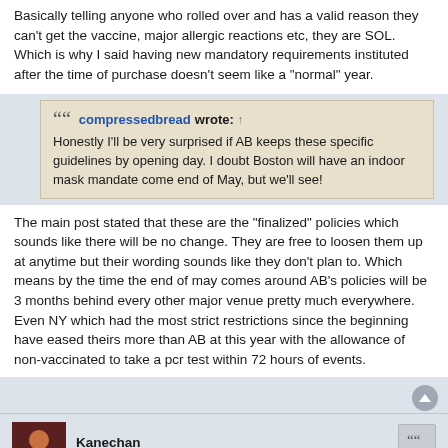Basically telling anyone who rolled over and has a valid reason they can't get the vaccine, major allergic reactions etc, they are SOL. Which is why I said having new mandatory requirements instituted after the time of purchase doesn't seem like a "normal" year.
compressedbread wrote: ↑ Honestly I'll be very surprised if AB keeps these specific guidelines by opening day. I doubt Boston will have an indoor mask mandate come end of May, but we'll see!
The main post stated that these are the "finalized" policies which sounds like there will be no change. They are free to loosen them up at anytime but their wording sounds like they don't plan to. Which means by the time the end of may comes around AB's policies will be 3 months behind every other major venue pretty much everywhere. Even NY which had the most strict restrictions since the beginning have eased theirs more than AB at this year with the allowance of non-vaccinated to take a pcr test within 72 hours of events.
Kanechan
Expert Poster
Re: COVID Policy Update Anime Boston 2022
Tue Mar 01, 2022 7:39 pm